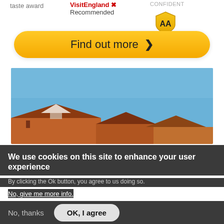taste award
VisitEngland Recommended
CONFIDENT
[Figure (logo): AA shield logo with 'AA' letters in gold/yellow on dark shield background]
Find out more >
[Figure (photo): Exterior photo showing rooftop of a building against a clear blue sky]
We use cookies on this site to enhance your user experience
By clicking the Ok button, you agree to us doing so.
No, give me more info.
No, thanks
OK, I agree